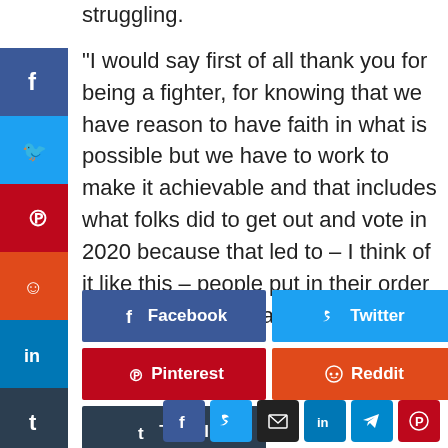struggling.
“I would say first of all thank you for being a fighter, for knowing that we have reason to have faith in what is possible but we have to work to make it achievable and that includes what folks did to get out and vote in 2020 because that led to – I think of it like this – people put in their order and said this is what I want.”
[Figure (infographic): Social share buttons: Facebook, Twitter, Pinterest, Reddit, LinkedIn, Tumblr large buttons, plus small icon row: Facebook, Twitter, Email, LinkedIn, Telegram, Pinterest]